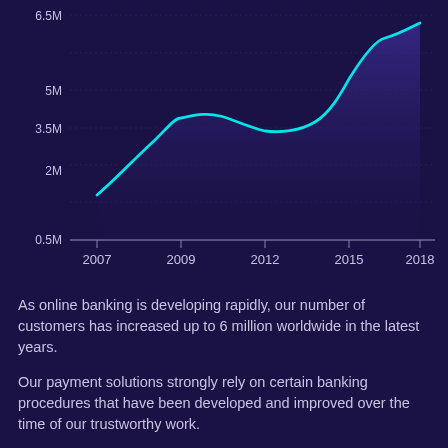[Figure (area-chart): ]
As online banking is developing rapidly, our number of customers has increased up to 6 million worldwide in the latest years.
Our payment solutions strongly rely on certain banking procedures that have been developed and improved over the time of our trustworthy work.